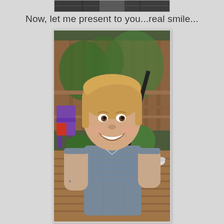[Figure (photo): Partial photo strip at top showing fragments of a previous image (dark tones, possibly people)]
Now, let me present to you...real smile...
[Figure (photo): A young boy with strawberry-blonde/golden hair, wearing a blue plaid short-sleeve button-up shirt, smiling broadly at the camera. He is standing on a wooden deck with a wooden fence/railing behind him, potted plants (terracotta pots with greenery), a purple plastic chair, and garden tools visible in the background.]